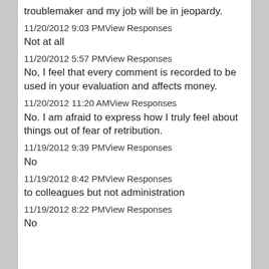troublemaker and my job will be in jeopardy.
11/20/2012 9:03 PMView Responses
Not at all
11/20/2012 5:57 PMView Responses
No, I feel that every comment is recorded to be used in your evaluation and affects money.
11/20/2012 11:20 AMView Responses
No. I am afraid to express how I truly feel about things out of fear of retribution.
11/19/2012 9:39 PMView Responses
No
11/19/2012 8:42 PMView Responses
to colleagues but not administration
11/19/2012 8:22 PMView Responses
No